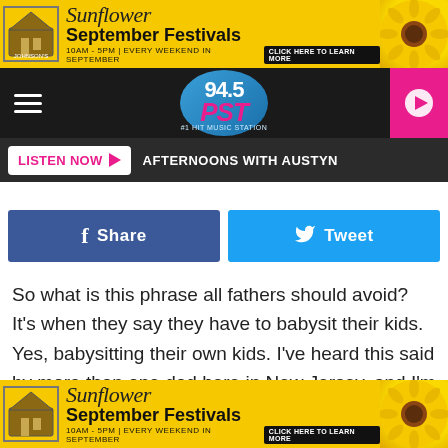[Figure (screenshot): Top advertisement banner for Johnson's Sunflower September Festivals. Yellow background with sunflower imagery, text: Sunflower September Festivals 10AM - 5PM | EVERY WEEKEND IN SEPTEMBER CLICK HERE TO LEARN MORE]
[Figure (logo): 94.5 PST radio station navigation bar with hamburger menu, oval logo, and pink play button]
LISTEN NOW ▶  AFTERNOONS WITH AUSTYN
[Figure (infographic): Facebook Share button (dark blue) and Twitter Tweet button (light blue)]
So what is this phrase all fathers should avoid? It's when they say they have to babysit their kids. Yes, babysitting their own kids. I've heard this said by more than one dad here in New Jersey, and I'm certain it happens outside our borders as well.

But why is this so bad? Well for one, they're your kids. It
[Figure (screenshot): Bottom advertisement banner for Johnson's Sunflower September Festivals. Yellow background with sunflower imagery, text: Sunflower September Festivals 10AM - 5PM | EVERY WEEKEND IN SEPTEMBER CLICK HERE TO LEARN MORE]